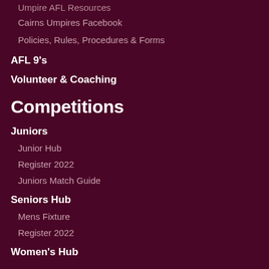Umpire AFL Resources
Cairns Umpires Facebook
Policies, Rules, Procedures & Forms
AFL 9's
Volunteer & Coaching
Competitions
Juniors
Junior Hub
Register 2022
Juniors Match Guide
Seniors Hub
Mens Fixture
Register 2022
Women's Hub